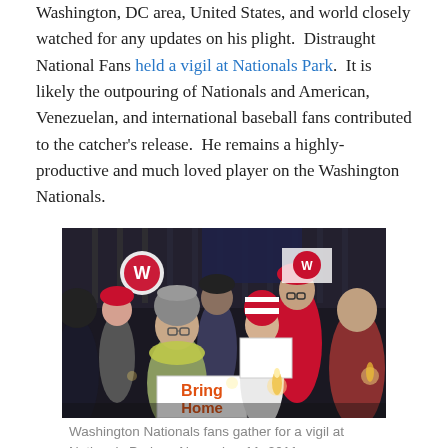Washington, DC area, United States, and world closely watched for any updates on his plight. Distraught National Fans held a vigil at Nationals Park. It is likely the outpouring of Nationals and American, Venezuelan, and international baseball fans contributed to the catcher's release. He remains a highly-productive and much loved player on the Washington Nationals.
[Figure (photo): Washington Nationals fans gathered at night for a candlelight vigil at Nationals Park. Fans are wearing red caps and holding signs, including one that reads 'Bring Home'. A woman in a grey knit hat and yellow-green scarf is prominent in the foreground.]
Washington Nationals fans gather for a vigil at Nationals Park on November 11, 2011.